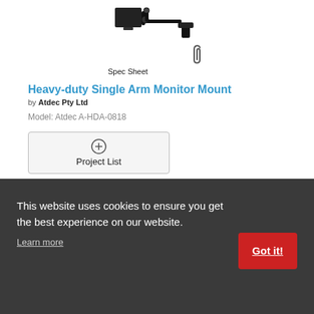[Figure (photo): Heavy-duty single arm monitor mount product image (black arm), partially visible at top]
[Figure (illustration): Paperclip icon representing Spec Sheet attachment]
Spec Sheet
Heavy-duty Single Arm Monitor Mount
by Atdec Pty Ltd
Model: Atdec A-HDA-0818
[Figure (other): Add to Project List button with plus circle icon]
[Figure (photo): Atdec All-purpose Notebook Cart product image, partially visible]
Spec Sheet
Atdec All-purpose Notebook Cart
by Atdec Pty Ltd
This website uses cookies to ensure you get the best experience on our website. Learn more